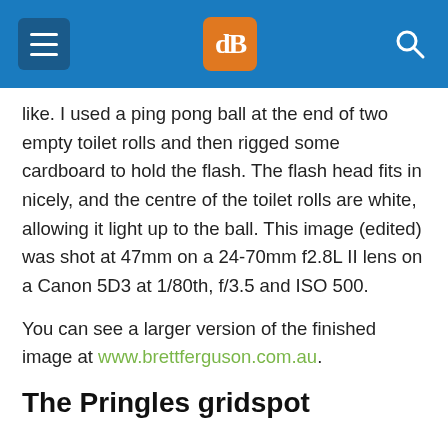dPS navigation header
like. I used a ping pong ball at the end of two empty toilet rolls and then rigged some cardboard to hold the flash. The flash head fits in nicely, and the centre of the toilet rolls are white, allowing it light up to the ball. This image (edited) was shot at 47mm on a 24-70mm f2.8L II lens on a Canon 5D3 at 1/80th, f/3.5 and ISO 500.
You can see a larger version of the finished image at www.brettferguson.com.au.
The Pringles gridspot